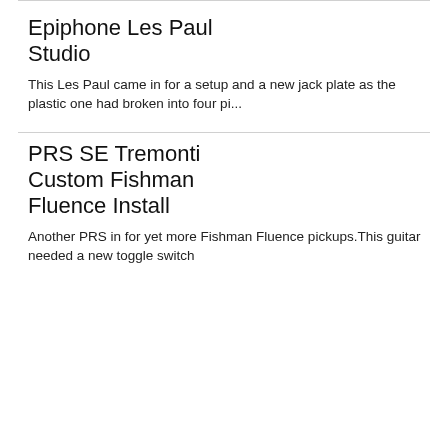Epiphone Les Paul Studio
This Les Paul came in for a setup and a new jack plate as the plastic one had broken into four pi...
PRS SE Tremonti Custom Fishman Fluence Install
Another PRS in for yet more Fishman Fluence pickups.This guitar needed a new toggle switch